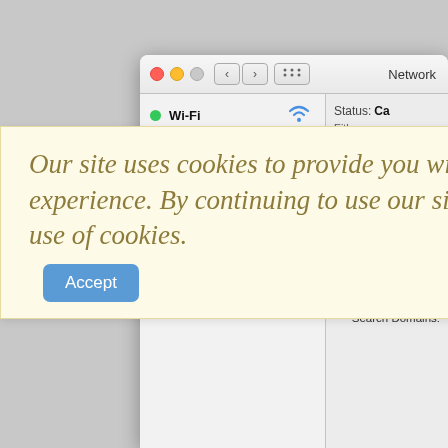[Figure (screenshot): macOS Network System Preferences window showing Wi-Fi (connected, green dot), Bluetooth PAN (not connected, red dot), Ethernet (not connected, red dot, selected), and FireWire (not connected, red dot) in the sidebar. Right panel shows Configure IPv4, IP Address, Subnet Mask, Router, DNS Server, Search Domains fields. A cookie consent banner overlays the window with text 'Our site uses cookies to provide you with a great experience. By continuing to use our site you agree to our use of cookies.' and an Accept button.]